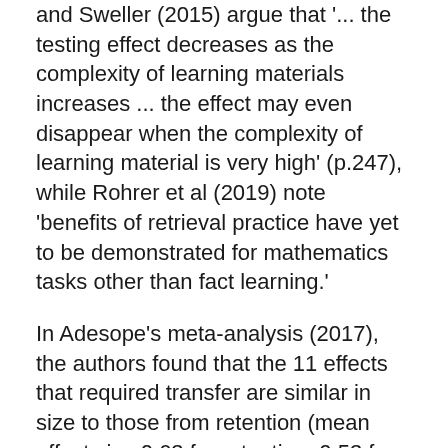and Sweller (2015) argue that '... the testing effect decreases as the complexity of learning materials increases ... the effect may even disappear when the complexity of learning material is very high' (p.247), while Rohrer et al (2019) note 'benefits of retrieval practice have yet to be demonstrated for mathematics tasks other than fact learning.'
In Adesope's meta-analysis (2017), the authors found that the 11 effects that required transfer are similar in size to those from retention (mean effect size 0.63 for retention, 0.53 for transfer). However, Agarwal's recent paper (2019)